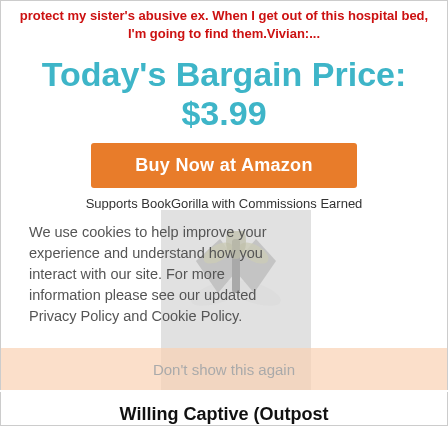protect my sister's abusive ex. When I get out of this hospital bed, I'm going to find them.Vivian:...
Today's Bargain Price: $3.99
Buy Now at Amazon
Supports BookGorilla with Commissions Earned
Categories: Action and Adventure; All Romance
We use cookies to help improve your experience and understand how you interact with our site. For more information please see our updated Privacy Policy and Cookie Policy.
Don't show this again
[Figure (logo): BookGorilla book logo illustration]
Willing Captive (Outpost